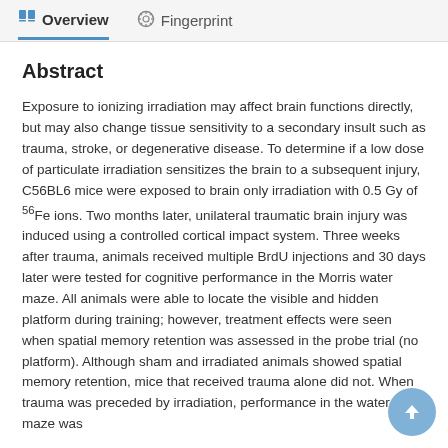Overview   Fingerprint
Abstract
Exposure to ionizing irradiation may affect brain functions directly, but may also change tissue sensitivity to a secondary insult such as trauma, stroke, or degenerative disease. To determine if a low dose of particulate irradiation sensitizes the brain to a subsequent injury, C56BL6 mice were exposed to brain only irradiation with 0.5 Gy of 56Fe ions. Two months later, unilateral traumatic brain injury was induced using a controlled cortical impact system. Three weeks after trauma, animals received multiple BrdU injections and 30 days later were tested for cognitive performance in the Morris water maze. All animals were able to locate the visible and hidden platform during training; however, treatment effects were seen when spatial memory retention was assessed in the probe trial (no platform). Although sham and irradiated animals showed spatial memory retention, mice that received trauma alone did not. When trauma was preceded by irradiation, performance in the water maze was